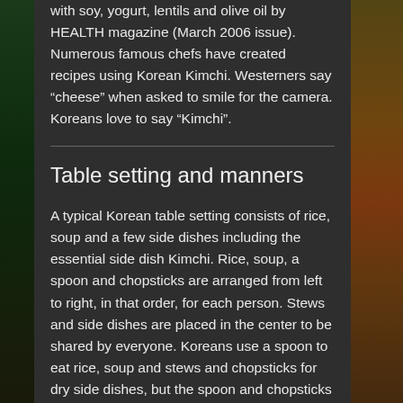with soy, yogurt, lentils and olive oil by HEALTH magazine (March 2006 issue). Numerous famous chefs have created recipes using Korean Kimchi. Westerners say “cheese” when asked to smile for the camera. Koreans love to say “Kimchi”.
Table setting and manners
A typical Korean table setting consists of rice, soup and a few side dishes including the essential side dish Kimchi. Rice, soup, a spoon and chopsticks are arranged from left to right, in that order, for each person. Stews and side dishes are placed in the center to be shared by everyone. Koreans use a spoon to eat rice, soup and stews and chopsticks for dry side dishes, but the spoon and chopsticks are not used simultaneously. Koreans also do not hold their bowls or plates while eating. When the meal is over,